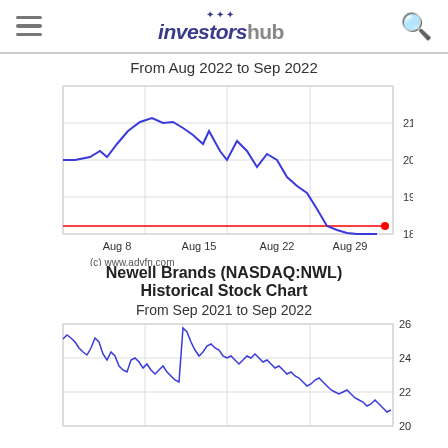investorshub
From Aug 2022 to Sep 2022
[Figure (line-chart): Newell Brands stock price line chart Aug 2022 to Sep 2022, blue line rising from ~20 in early Aug to peak ~21.3 mid Aug then declining sharply to ~17.6 end Aug. Red horizontal line near bottom at ~17.4.]
(c) www.advfn.com
Newell Brands (NASDAQ:NWL)
Historical Stock Chart
From Sep 2021 to Sep 2022
[Figure (line-chart): Newell Brands historical stock chart Sep 2021 to Sep 2022, blue line showing volatile price ranging from ~20 to ~26, with y-axis labels 20, 22, 24, 26.]